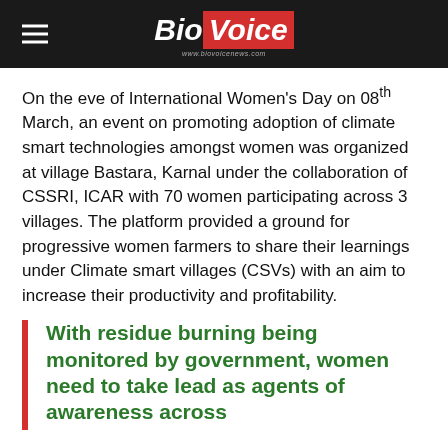BioVoice
On the eve of International Women's Day on 08th March, an event on promoting adoption of climate smart technologies amongst women was organized at village Bastara, Karnal under the collaboration of CSSRI, ICAR with 70 women participating across 3 villages. The platform provided a ground for progressive women farmers to share their learnings under Climate smart villages (CSVs) with an aim to increase their productivity and profitability.
With residue burning being monitored by government, women need to take lead as agents of awareness across